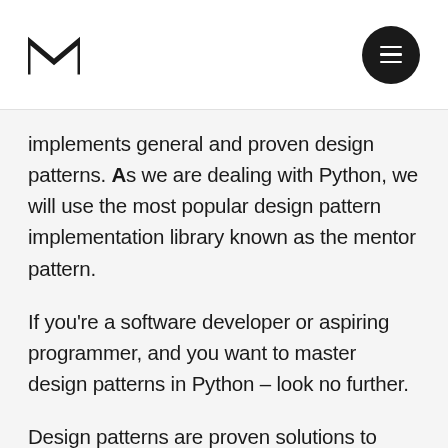[Logo] [Menu button]
implements general and proven design patterns. As we are dealing with Python, we will use the most popular design pattern implementation library known as the mentor pattern.
If you're a software developer or aspiring programmer, and you want to master design patterns in Python – look no further.
Design patterns are proven solutions to common problems in software design. In this course you will learn how to write